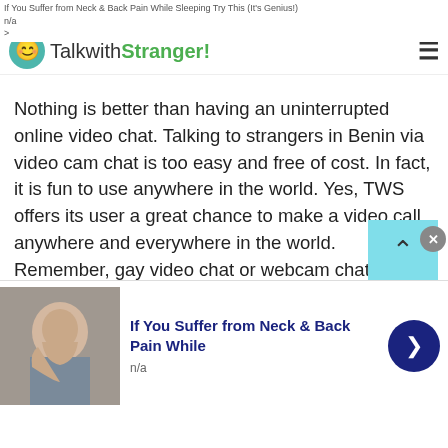If You Suffer from Neck & Back Pain While Sleeping Try This (It's Genius!)
n/a
>
TalkwithStranger!
Nothing is better than having an uninterrupted online video chat. Talking to strangers in Benin via video cam chat is too easy and free of cost. In fact, it is fun to use anywhere in the world. Yes, TWS offers its user a great chance to make a video call anywhere and everywhere in the world. Remember, gay video chat or webcam chat is just one click away. Yes, you don't need to install any software to start a gay video chat. Well, not only gay users, TWS always welcome teen boys, girls, male and female strangers, lesbians or everyone on this free online chat.
[Figure (photo): Advertisement banner with person holding neck, for neck and back pain product]
If You Suffer from Neck & Back Pain While
n/a